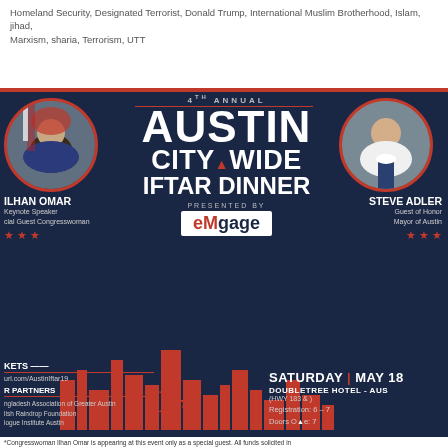Homeland Security, Designated Terrorist, Donald Trump, International Muslim Brotherhood, Islam, jihad, Marxism, sharia, Terrorism, UTT
[Figure (infographic): 4th Annual Austin City Wide Iftar Dinner event flyer on dark navy background. Features Ilhan Omar as Keynote Speaker / Special Guest Congresswoman on the left, Steve Adler as Guest of Honor / Mayor of Austin on the right. Presented by eMgage. Saturday May 18, Doubletree Hotel - Austin (HWY 183 & ...). Registration: 6-7, Doors Open: 7. Partner organizations listed. Red and white text on dark navy. Austin skyline silhouette in red at bottom. Disclaimer text at bottom.]
*Congresswoman Ilhan Omar is appearing at this event only as a special guest. All funds solicited in